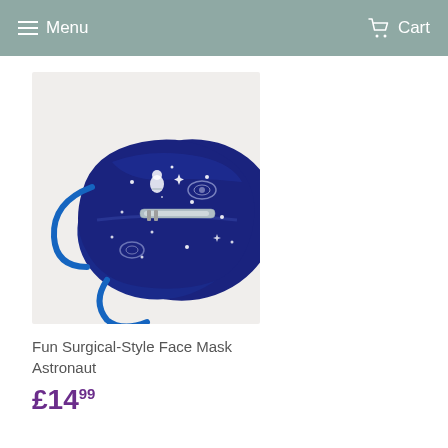Menu   Cart
[Figure (photo): Navy blue surgical-style face mask with astronaut and galaxy print fabric, blue elastic ear loops, and metal nose clip]
Fun Surgical-Style Face Mask Astronaut
£14.99